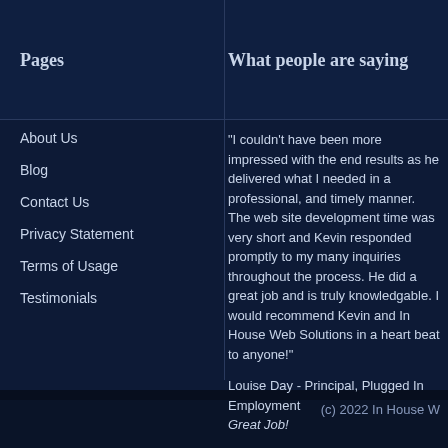Pages
What people are saying
About Us
Blog
Contact Us
Privacy Statement
Terms of Usage
Testimonials
"I couldn't have been more impressed with the end results as he delivered what I needed in a professional, and timely manner. The web site development time was very short and Kevin responded promptly to my many inquiries throughout the process. He did a great job and is truly knowledgable. I would recommend Kevin and In House Web Solutions in a heart beat to anyone!"
Louise Day - Principal, Plugged In Employment
Great Job!
(c) 2022 In House W